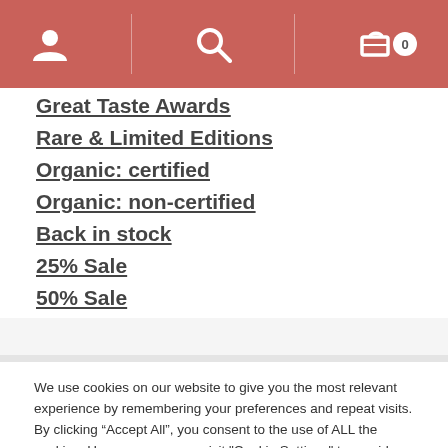Navigation header with user icon, search icon, and cart icon with badge 0
Great Taste Awards
Rare & Limited Editions
Organic: certified
Organic: non-certified
Back in stock
25% Sale
50% Sale
We use cookies on our website to give you the most relevant experience by remembering your preferences and repeat visits. By clicking “Accept All”, you consent to the use of ALL the cookies. However, you may visit "Cookie Settings" to provide a controlled consent.